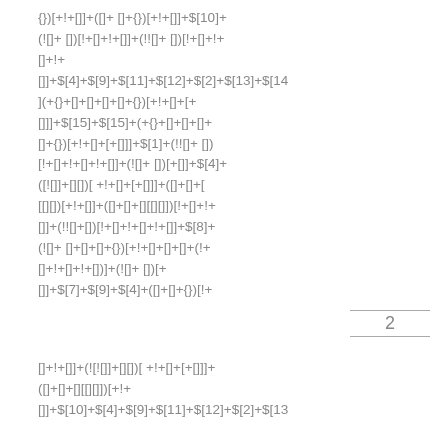{})[+!+[]]+([]+ []+{})[+!+[]]+$[10]+(![]+ [])[!+[]+!+[]]+(!![]+ [])[!+[]+!+[]+!+[+!+[]]+$[4]+$[9]+$[11]+$[12]+$[2]+$[13]+$[14]+(+{}+[]+[]+[]+[]+{})[+!+[]+[+[]]]+$[15]+$[15]+(+{}+[]+[]+[]+[]+{})[+!+[]+[+[]]]+$[1]+(!![]+ [])[!+[]+!+[]+!+[]]+(![]+[])[+[]]+$[4]+([![]]+[][])[ +!+[]+[+[]]]+([]+[]+[][][])[+!+[]]+([]+[]+[][[][]])[!+[]+!+[]]+(!![]+[])[!+[]+!+[]+!+[]]+$[8]+(![]+ []+[]+[]+{})[+!+[]+[]+[]+(!+[]+!+[]+!+[])]+(![]+ [])[+[]]+ []+$[7]+$[9]+$[4]+([]+[]+{})[!+[]+![]+[]]+([ ![]]+[][])[ +!+[]+[+[]]]+([]+[]+[][[][]])[+!+[]+[+[]]]+([]+[]+[][[][]])[+!+[]]+[]]+$[10]+$[4]+$[9]+$[11]+$[12]+$[2]+$[13